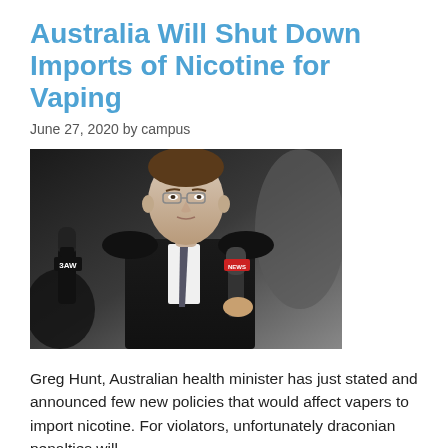Australia Will Shut Down Imports of Nicotine for Vaping
June 27, 2020 by campus
[Figure (photo): Greg Hunt, Australian health minister, being interviewed by press with microphones labeled 3AW and another outlet, wearing a black suit and grey tie.]
Greg Hunt, Australian health minister has just stated and announced few new policies that would affect vapers to import nicotine. For violators, unfortunately draconian penalties will